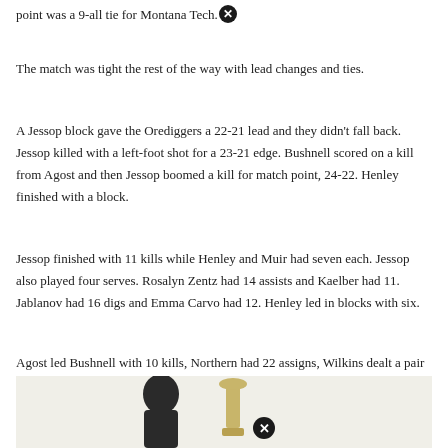point was a 9-all tie for Montana Tech.
The match was tight the rest of the way with lead changes and ties.
A Jessop block gave the Orediggers a 22-21 lead and they didn't fall back. Jessop killed with a left-foot shot for a 23-21 edge. Bushnell scored on a kill from Agost and then Jessop boomed a kill for match point, 24-22. Henley finished with a block.
Jessop finished with 11 kills while Henley and Muir had seven each. Jessop also played four serves. Rosalyn Zentz had 14 assists and Kaelber had 11. Jablanov had 16 digs and Emma Carvo had 12. Henley led in blocks with six.
Agost led Bushnell with 10 kills, Northern had 22 assists, Wilkins dealt a pair of aces and had 18 digs, and Jones led the Beacons in blocks of three.
[Figure (photo): Partial photo of a person and a trophy at the bottom of the page, with a close/dismiss button overlay]